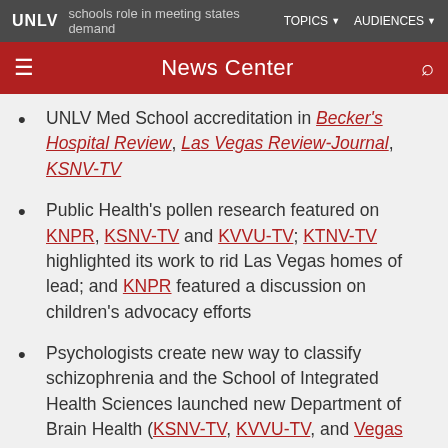UNLV News Center — schools role in meeting states demand — TOPICS AUDIENCES
UNLV Med School accreditation in Becker's Hospital Review, Las Vegas Review-Journal, KSNV-TV
Public Health's pollen research featured on KNPR, KSNV-TV and KVVU-TV; KTNV-TV highlighted its work to rid Las Vegas homes of lead; and KNPR featured a discussion on children's advocacy efforts
Psychologists create new way to classify schizophrenia and the School of Integrated Health Sciences launched new Department of Brain Health (KSNV-TV, KVVU-TV, and Vegas PBS)